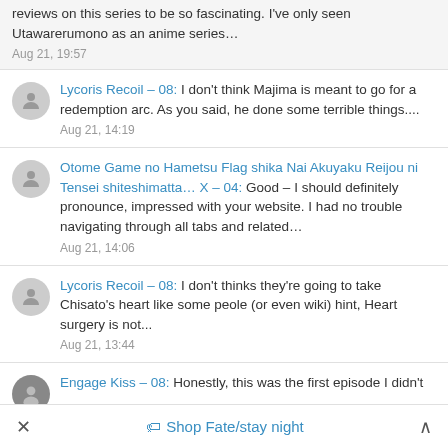reviews on this series to be so fascinating. I've only seen Utawarerumono as an anime series…
Aug 21, 19:57
Lycoris Recoil – 08: I don't think Majima is meant to go for a redemption arc. As you said, he done some terrible things....
Aug 21, 14:19
Otome Game no Hametsu Flag shika Nai Akuyaku Reijou ni Tensei shiteshimatta… X – 04: Good – I should definitely pronounce, impressed with your website. I had no trouble navigating through all tabs and related…
Aug 21, 14:06
Lycoris Recoil – 08: I don't thinks they're going to take Chisato's heart like some peole (or even wiki) hint, Heart surgery is not...
Aug 21, 13:44
Engage Kiss – 08: Honestly, this was the first episode I didn't
✕   🏷 Shop Fate/stay night   ∧